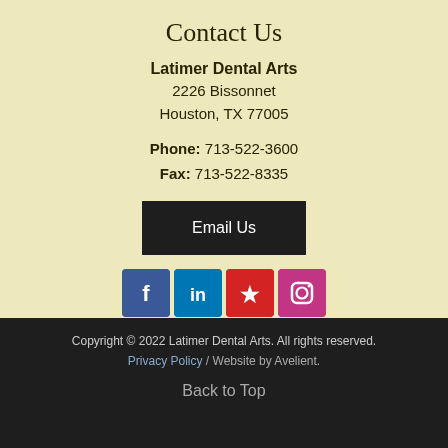Contact Us
Latimer Dental Arts
2226 Bissonnet
Houston, TX 77005
Phone: 713-522-3600
Fax: 713-522-8335
Email Us
[Figure (other): Social media icons: Facebook (blue), LinkedIn (blue), Yelp (red), Instagram (purple)]
Copyright © 2022 Latimer Dental Arts. All rights reserved.
Privacy Policy  /  Website by Avelient.

Back to Top